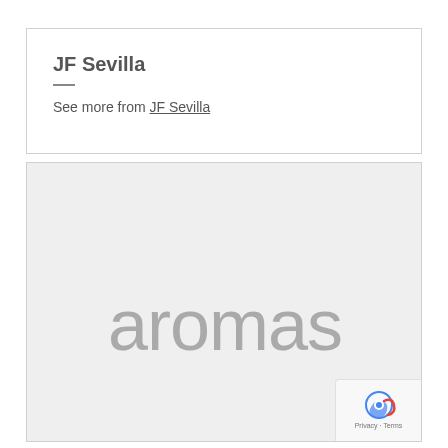JF Sevilla
See more from JF Sevilla
[Figure (logo): Logo image for 'aromas' font — light gray text reading 'aromas' on a light gray background]
Privacy · Terms